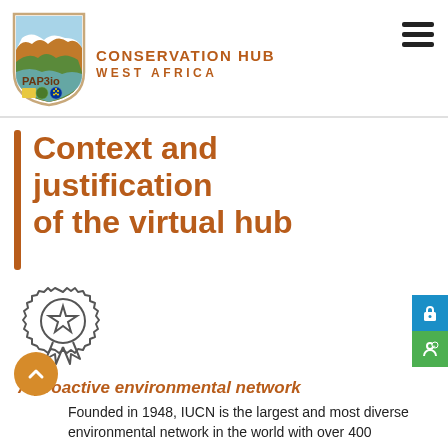[Figure (logo): Conservation Hub West Africa - PAP3Bio shield logo with landscape imagery and organization emblems]
Context and justification of the virtual hub
[Figure (illustration): Award badge / medal icon (outline style)]
A proactive environmental network
Founded in 1948, IUCN is the largest and most diverse environmental network in the world with over 400...